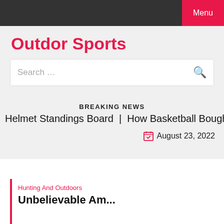Menu
Outdor Sports
Search …
BREAKING NEWS
Helmet Standings Board  |  How Basketball Bought Began  |
August 23, 2022
Hunting And Outdoors